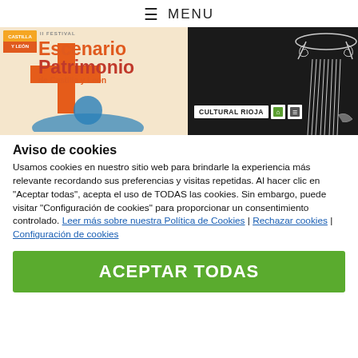≡ MENU
[Figure (photo): Banner with two panels: left panel shows 'II Festival Escenario Patrimonio de Castilla y León' with orange cross graphic on beige background; right panel shows a Greek column illustration on dark background with 'Cultural Rioja' logo bar]
Aviso de cookies
Usamos cookies en nuestro sitio web para brindarle la experiencia más relevante recordando sus preferencias y visitas repetidas. Al hacer clic en 'Aceptar todas', acepta el uso de TODAS las cookies. Sin embargo, puede visitar 'Configuración de cookies' para proporcionar un consentimiento controlado. Leer más sobre nuestra Política de Cookies | Rechazar cookies | Configuración de cookies
ACEPTAR TODAS